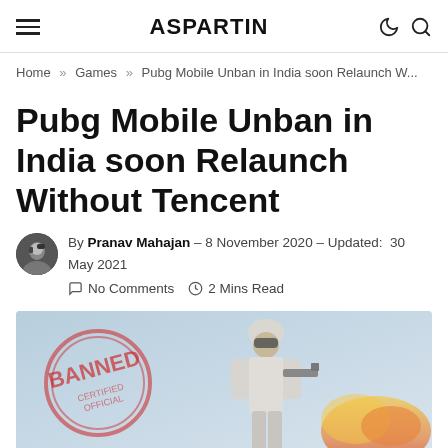ASPARTIN
Home » Games » Pubg Mobile Unban in India soon Relaunch W...
Pubg Mobile Unban in India soon Relaunch Without Tencent
By Pranav Mahajan – 8 November 2020 – Updated: 30 May 2021  No Comments  2 Mins Read
[Figure (photo): PUBG Mobile banned stamp image with a soldier character in full gear holding a gun, with a red BANNED stamp overlay on a light blue/sky background with fire effects]